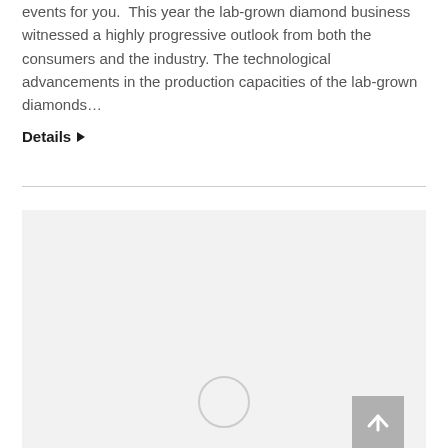events for you. This year the lab-grown diamond business witnessed a highly progressive outlook from both the consumers and the industry. The technological advancements in the production capacities of the lab-grown diamonds…
Details ▶
[Figure (other): Light gray placeholder image block with a circular loading spinner near the bottom center, and a gray back-to-top arrow button in the bottom right corner.]